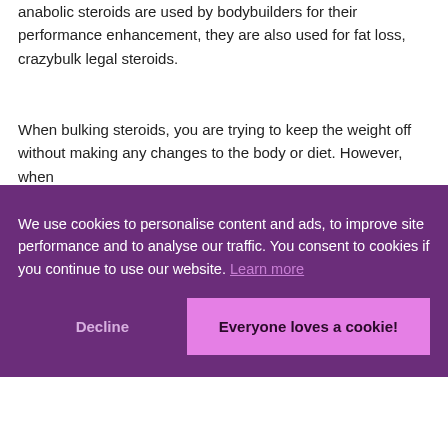anabolic steroids are used by bodybuilders for their performance enhancement, they are also used for fat loss, crazybulk legal steroids.
When bulking steroids, you are trying to keep the weight off without making any changes to the body or diet. However, when
We use cookies to personalise content and ads, to improve site performance and to analyse our traffic. You consent to cookies if you continue to use our website. Learn more
Decline
Everyone loves a cookie!